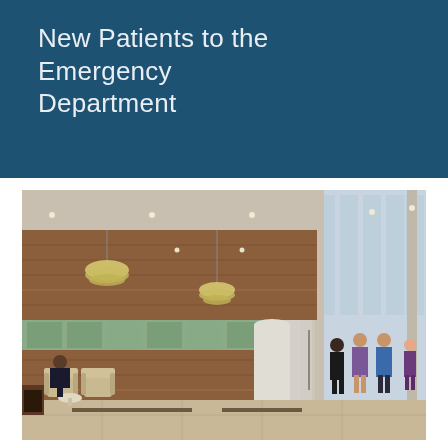New Patients to the Emergency Department
[Figure (photo): Interior photograph of a modern hospital lobby/atrium featuring warm wood-paneled walls, decorative pendant chandeliers, large windows, comfortable lounge seating with armchairs, a white cylindrical column, polished tile floors, and several people walking or seated in the space.]